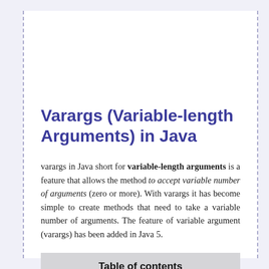Varargs (Variable-length Arguments) in Java
varargs in Java short for variable-length arguments is a feature that allows the method to accept variable number of arguments (zero or more). With varargs it has become simple to create methods that need to take a variable number of arguments. The feature of variable argument (varargs) has been added in Java 5.
Table of contents